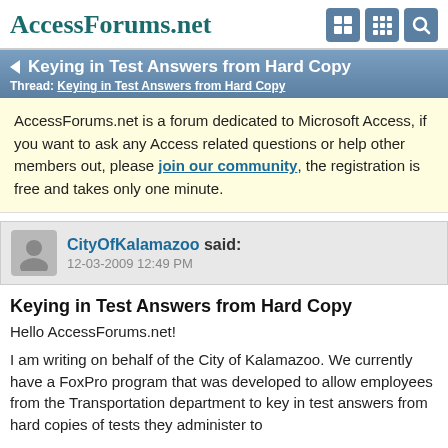AccessForums.net
Keying in Test Answers from Hard Copy
Thread: Keying in Test Answers from Hard Copy
AccessForums.net is a forum dedicated to Microsoft Access, if you want to ask any Access related questions or help other members out, please join our community, the registration is free and takes only one minute.
CityOfKalamazoo said: 12-03-2009 12:49 PM
Keying in Test Answers from Hard Copy
Hello AccessForums.net!

I am writing on behalf of the City of Kalamazoo. We currently have a FoxPro program that was developed to allow employees from the Transportation department to key in test answers from hard copies of tests they administer to